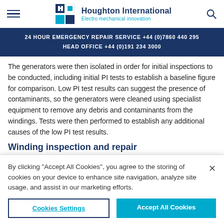Houghton International — Electro mechanical innovation
24 HOUR EMERGENCY REPAIR SERVICE +44 (0)7860 440 295
HEAD OFFICE +44 (0)191 234 3000
The generators were then isolated in order for initial inspections to be conducted, including initial PI tests to establish a baseline figure for comparison. Low PI test results can suggest the presence of contaminants, so the generators were cleaned using specialist equipment to remove any debris and contaminants from the windings. Tests were then performed to establish any additional causes of the low PI test results.
By clicking “Accept All Cookies”, you agree to the storing of cookies on your device to enhance site navigation, analyze site usage, and assist in our marketing efforts.